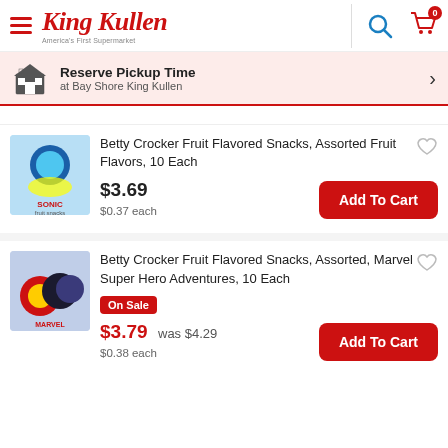King Kullen
Reserve Pickup Time at Bay Shore King Kullen
Betty Crocker Fruit Flavored Snacks, Assorted Fruit Flavors, 10 Each
$3.69
$0.37 each
Betty Crocker Fruit Flavored Snacks, Assorted, Marvel Super Hero Adventures, 10 Each
On Sale
$3.79 was $4.29
$0.38 each